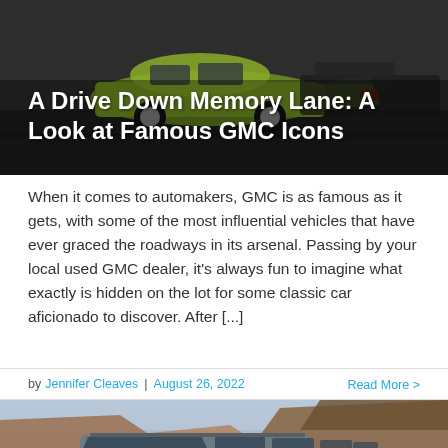[Figure (photo): Classic GMC vehicles parked in a lot, with a green/lime colored vintage muscle car visible. Dark background.]
A Drive Down Memory Lane: A Look at Famous GMC Icons
When it comes to automakers, GMC is as famous as it gets, with some of the most influential vehicles that have ever graced the roadways in its arsenal. Passing by your local used GMC dealer, it's always fun to imagine what exactly is hidden on the lot for some classic car aficionado to discover. After [...]
by Jennifer Cleaves | August 26, 2022   Read More >
[Figure (photo): A large GMC SUV (Yukon/Suburban style) parked with the Grand Canyon as a backdrop, rocky mesas visible in the background.]